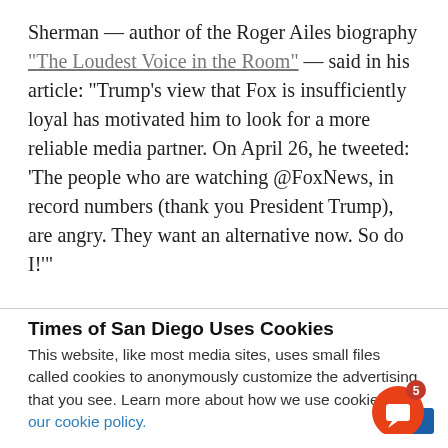Sherman — author of the Roger Ailes biography "The Loudest Voice in the Room" — said in his article: "Trump's view that Fox is insufficiently loyal has motivated him to look for a more reliable media partner. On April 26, he tweeted: 'The people who are watching @FoxNews, in record numbers (thank you President Trump), are angry. They want an alternative now. So do I!'"
Times of San Diego Uses Cookies
This website, like most media sites, uses small files called cookies to anonymously customize the advertising that you see. Learn more about how we use cookies in our cookie policy.
[Figure (other): Orange circular chat/notification button with a speech bubble icon and a red badge showing the number 5, overlapping a blue rectangle in the bottom right corner.]